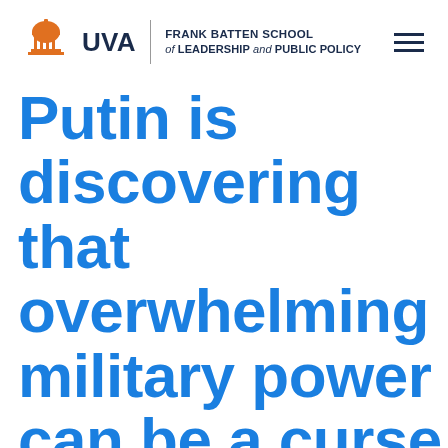UVA Frank Batten School of Leadership and Public Policy
Putin is discovering that overwhelming military power can be a curse
Todd S. Sechser, professor of politics and public policy at the Batten School, writes in The Washington Post that small countries can inflict serious damage on invading superpowers.
READ MORE